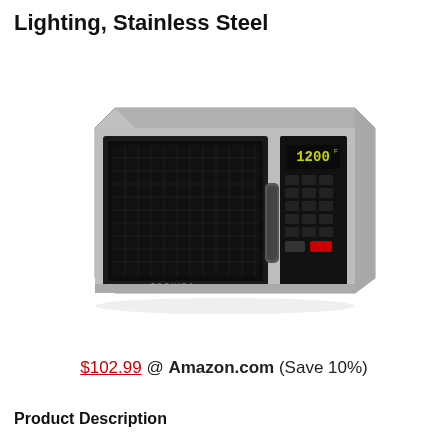Lighting, Stainless Steel
[Figure (photo): Toshiba stainless steel microwave oven with black door, digital display showing 1200, control panel with keypad buttons, viewed from a slight angle]
$102.99 @ Amazon.com (Save 10%)
Product Description